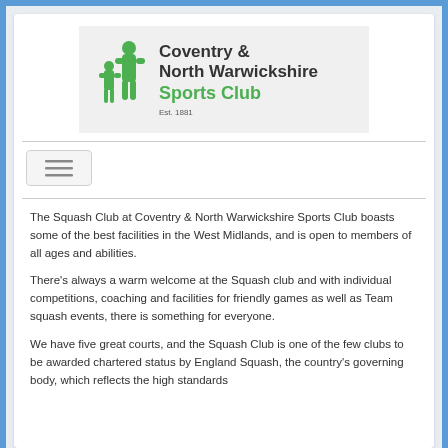[Figure (logo): Coventry & North Warwickshire Sports Club logo with green bear figures and text, Est. 1881]
[Figure (other): Navigation menu hamburger button with three horizontal lines]
The Squash Club at Coventry & North Warwickshire Sports Club boasts some of the best facilities in the West Midlands, and is open to members of all ages and abilities.
There's always a warm welcome at the Squash club and with individual competitions, coaching and facilities for friendly games as well as Team squash events, there is something for everyone.
We have five great courts, and the Squash Club is one of the few clubs to be awarded chartered status by England Squash, the country's governing body, which reflects the high standards